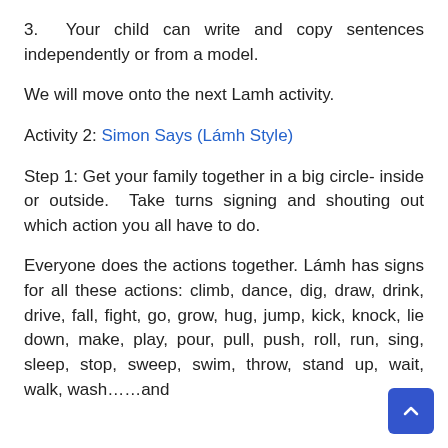3.  Your child can write and copy sentences independently or from a model.
We will move onto the next Lamh activity.
Activity 2: Simon Says (Lámh Style)
Step 1: Get your family together in a big circle- inside or outside.  Take turns signing and shouting out which action you all have to do.
Everyone does the actions together. Lámh has signs for all these actions: climb, dance, dig, draw, drink, drive, fall, fight, go, grow, hug, jump, kick, knock, lie down, make, play, pour, pull, push, roll, run, sing, sleep, stop, sweep, swim, throw, stand up, wait, walk, wash……and